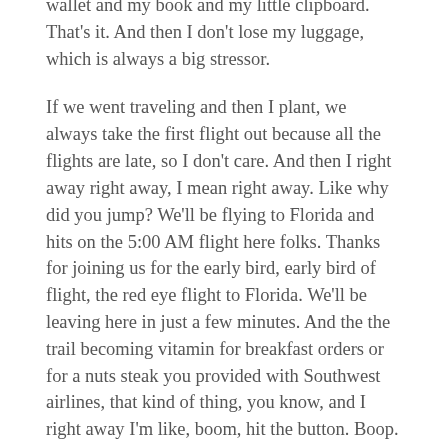wallet and my book and my little clipboard. That’s it. And then I don’t lose my luggage, which is always a big stressor.
If we went traveling and then I plant, we always take the first flight out because all the flights are late, so I don’t care. And then I right away right away, I mean right away. Like why did you jump? We’ll be flying to Florida and hits on the 5:00 AM flight here folks. Thanks for joining us for the early bird, early bird of flight, the red eye flight to Florida. We’ll be leaving here in just a few minutes. And the the trail becoming vitamin for breakfast orders or for a nuts steak you provided with Southwest airlines, that kind of thing, you know, and I right away I’m like, boom, hit the button. Boop. Oh yeah. Yes sir. How can I help you? I need a cranberry vodka and she does too. Can I get, I get air sickness. I’m assuming I get sick, I get, I’m very sick in the year, I get motion sickness.
So I’ll get out myself to adult to adult beverages before 5:00 AM up there in the air and I’m good. And once we land, I don’t get motion sickness cause motion sickness was a huge thing. I